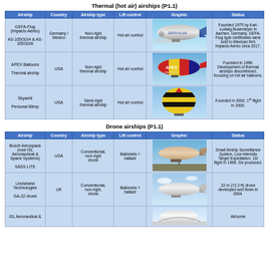Thermal (hot air) airships (P1.1)
| Airship | Country | Airship type | Lift control | Graphic | Status |
| --- | --- | --- | --- | --- | --- |
| GEFA-Flug (Impacto Aereo) AS-105GD/4 & AS-105GD/6 | Germany / Mexico | Non-rigid thermal airship | Hot air control | [image] | Founded 1975 by Karl-Ludwig Busemeyer in Aachen, Germany. GEFA-Flug type certificates were sold to Mexican firm Impacto Aereo circa 2017. |
| APEX Balloons Thermal airship | USA | Non-rigid thermal airship | Hot air control | [image] | Founded in 1998. Development of thermal airships discontinued; focusing on hot air balloons. |
| Skyacht Personal Blimp | USA | Semi-rigid thermal airship | Hot air control | [image] | Founded in 2002; 1st flight in 2006. |
Drone airships (P1.1)
| Airship | Country | Airship type | Lift control | Graphic | Status |
| --- | --- | --- | --- | --- | --- |
| Bosch Aerospace (now ISL Aeronautical & Space Systems) SASS LITE | USA | Conventional, non-rigid drone | Ballonets + ballast | [image] | Small Airship Surveillance System, Low Intensity Target Exploitation. 1st flight in 1996. Six produced. |
| Lindstrand Technologies GA-22 drone | UK | Conventional, non-rigid, drone | Ballonets + ballast | [image] | 22 m (72.2 ft) drone developed and flown in 2004. |
| ISL Aeronautical & |  |  |  | [image] | Airborne |